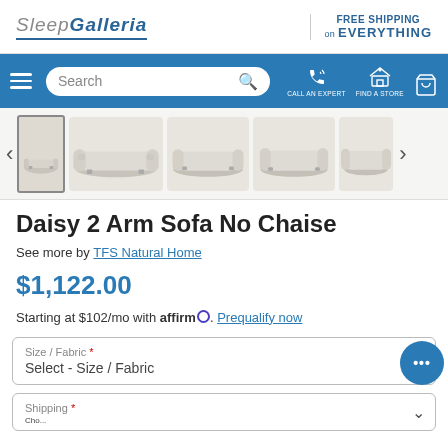Sleep Galleria | FREE SHIPPING on EVERYTHING
[Figure (screenshot): Navigation bar with hamburger menu, search box, call an expert icon, find a store icon, and cart icon on blue background]
[Figure (photo): Product image carousel showing 4 views of the Daisy 2 Arm Sofa No Chaise in beige/cream fabric with navigation arrows]
Daisy 2 Arm Sofa No Chaise
See more by TFS Natural Home
$1,122.00
Starting at $102/mo with affirm. Prequalify now
Size / Fabric * Select - Size / Fabric
Shipping *